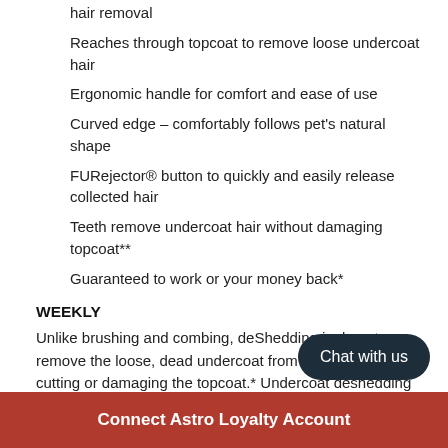hair removal
Reaches through topcoat to remove loose undercoat hair
Ergonomic handle for comfort and ease of use
Curved edge – comfortably follows pet's natural shape
FURejector® button to quickly and easily release collected hair
Teeth remove undercoat hair without damaging topcoat**
Guaranteed to work or your money back*
WEEKLY
Unlike brushing and combing, deShedding is done to remove the loose, dead undercoat from the pet without cutting or damaging the topcoat.* Undercoat deshedding reduces the shed hair in all pets and also can help reduce hairball formation in cats.
*When used as directed
Please read all in... beginning your gr... coat